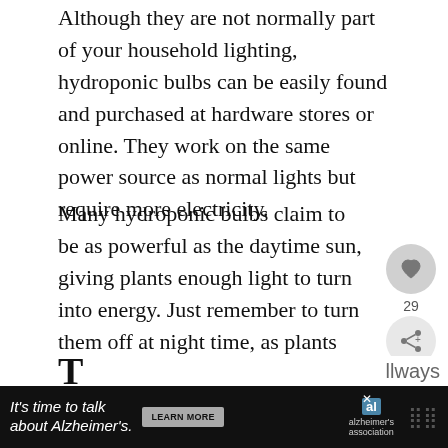Although they are not normally part of your household lighting, hydroponic bulbs can be easily found and purchased at hardware stores or online. They work on the same power source as normal lights but require more electricity.
Many hydroponic bulbs claim to be as powerful as the daytime sun, giving plants enough light to turn into energy. Just remember to turn them off at night time, as plants also benefit from periods of darkness.
Can Plants Survive With Any Natural Light?
T... always